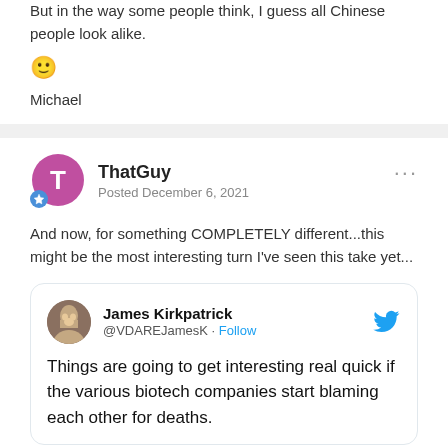But in the way some people think, I guess all Chinese people look alike.
[Figure (illustration): Yellow smiley face emoji]
Michael
ThatGuy
Posted December 6, 2021
And now, for something COMPLETELY different...this might be the most interesting turn I've seen this take yet...
[Figure (screenshot): Embedded tweet from James Kirkpatrick @VDAREJamesK with text: Things are going to get interesting real quick if the various biotech companies start blaming each other for deaths.]